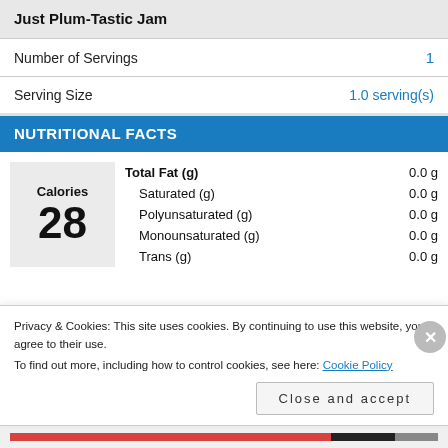Just Plum-Tastic Jam
Number of Servings   1
Serving Size   1.0 serving(s)
NUTRITIONAL FACTS
| Nutrient | Amount |
| --- | --- |
| Total Fat (g) | 0.0 g |
| Saturated (g) | 0.0 g |
| Polyunsaturated (g) | 0.0 g |
| Monounsaturated (g) | 0.0 g |
| Trans (g) | 0.0 g |
Calories 28
Privacy & Cookies: This site uses cookies. By continuing to use this website, you agree to their use.
To find out more, including how to control cookies, see here: Cookie Policy
Close and accept